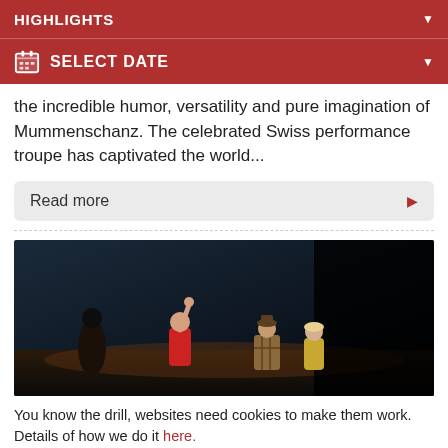HIGHLIGHTS
SELECT DATE
the incredible humor, versatility and pure imagination of Mummenschanz. The celebrated Swiss performance troupe has captivated the world...
Read more
[Figure (photo): Stage performance photo showing performers including a woman in a red top with arm raised, another performer in a plaid shirt, and a woman in yellow, with dark moody stage lighting backdrop]
You know the drill, websites need cookies to make them work. Details of how we do it here.
Got it!